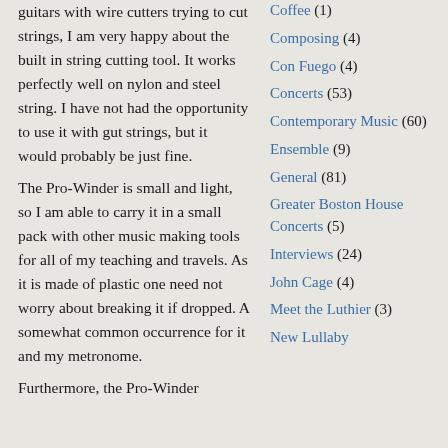guitars with wire cutters trying to cut strings, I am very happy about the built in string cutting tool. It works perfectly well on nylon and steel string. I have not had the opportunity to use it with gut strings, but it would probably be just fine.
The Pro-Winder is small and light, so I am able to carry it in a small pack with other music making tools for all of my teaching and travels. As it is made of plastic one need not worry about breaking it if dropped. A somewhat common occurrence for it and my metronome.
Furthermore, the Pro-Winder...
Coffee (1)
Composing (4)
Con Fuego (4)
Concerts (53)
Contemporary Music (60)
Ensemble (9)
General (81)
Greater Boston House Concerts (5)
Interviews (24)
John Cage (4)
Meet the Luthier (3)
New Lullaby